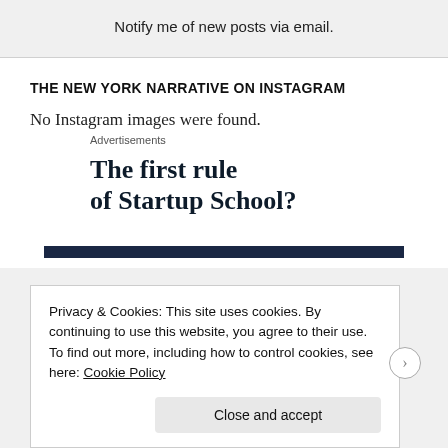Notify me of new posts via email.
THE NEW YORK NARRATIVE ON INSTAGRAM
No Instagram images were found.
Advertisements
The first rule of Startup School?
Privacy & Cookies: This site uses cookies. By continuing to use this website, you agree to their use.
To find out more, including how to control cookies, see here: Cookie Policy
Close and accept